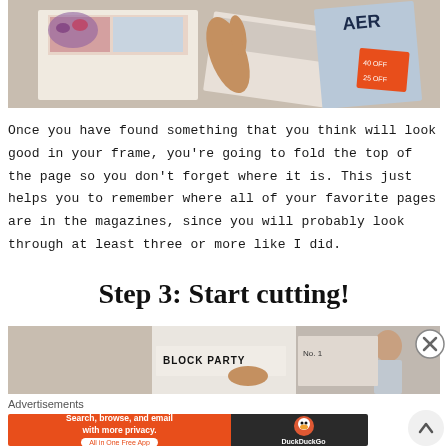[Figure (photo): Photo of a person flipping through magazines on a carpet floor, with food and shopping catalog visible]
Once you have found something that you think will look good in your frame, you're going to fold the top of the page so you don't forget where it is. This just helps you to remember where all of your favorite pages are in the magazines, since you will probably look through at least three or more like I did.
Step 3: Start cutting!
[Figure (photo): Photo showing magazines spread out including one labeled BLOCK PARTY, hands cutting or browsing through pages]
Advertisements
[Figure (screenshot): DuckDuckGo advertisement banner: Search, browse, and email with more privacy. All in One Free App. DuckDuckGo logo on dark background.]